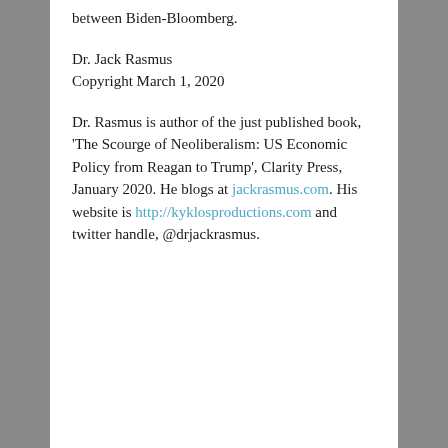whoever prevails in the race within the race/race between Biden-Bloomberg.
Dr. Jack Rasmus
Copyright March 1, 2020
Dr. Rasmus is author of the just published book, 'The Scourge of Neoliberalism: US Economic Policy from Reagan to Trump', Clarity Press, January 2020. He blogs at jackrasmus.com. His website is http://kyklosproductions.com and twitter handle, @drjackrasmus.